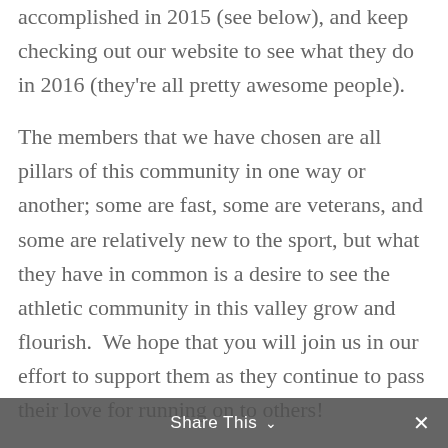accomplished in 2015 (see below), and keep checking out our website to see what they do in 2016 (they're all pretty awesome people).
The members that we have chosen are all pillars of this community in one way or another; some are fast, some are veterans, and some are relatively new to the sport, but what they have in common is a desire to see the athletic community in this valley grow and flourish.  We hope that you will join us in our effort to support them as they continue to pass their love for running on to others!
Share This ∨  ✕